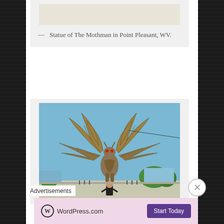[Figure (photo): Top portion of a photo showing a light-colored textured background, possibly snow or sand]
— Statue of The Mothman in Point Pleasant, WV.
[Figure (photo): Photo of the Mothman statue in Point Pleasant, WV — a large metallic winged creature statue with a person standing in front of it, blue sky background with trees and street scene]
Advertisements
[Figure (logo): WordPress.com advertisement banner with WordPress logo and 'Start Today' button on pink background]